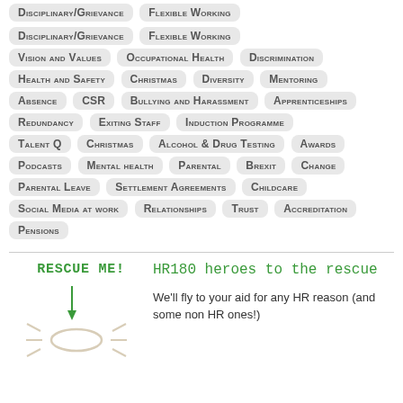[partial top row tags: cut off at top]
Disciplinary/Grievance
Flexible Working
Vision and Values
Occupational Health
Discrimination
Health and Safety
Christmas
Diversity
Mentoring
Absence
CSR
Bullying and Harassment
Apprenticeships
Redundancy
Exiting Staff
Induction Programme
Talent Q
Christmas
Alcohol & Drug Testing
Awards
Podcasts
Mental health
Parental
Brexit
Change
Parental Leave
Settlement Agreements
Childcare
Social Media at work
Relationships
Trust
Accreditation
Pensions
[Figure (illustration): Cartoon illustration: 'RESCUE ME!' text in green with arrow pointing down to a simple drawn person/figure. HR180 heroes to the rescue branding image.]
HR180 heroes to the rescue
We'll fly to your aid for any HR reason (and some non HR ones!)